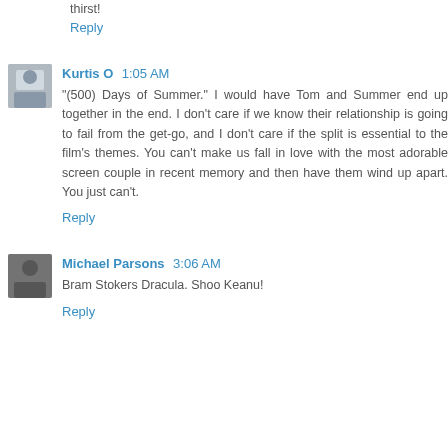thirst!
Reply
Kurtis O  1:05 AM
"(500) Days of Summer." I would have Tom and Summer end up together in the end. I don't care if we know their relationship is going to fail from the get-go, and I don't care if the split is essential to the film's themes. You can't make us fall in love with the most adorable screen couple in recent memory and then have them wind up apart. You just can't.
Reply
Michael Parsons  3:06 AM
Bram Stokers Dracula. Shoo Keanu!
Reply